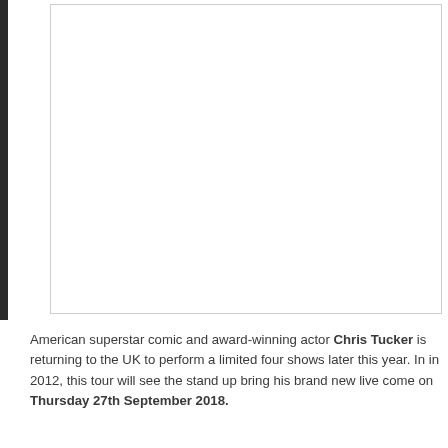[Figure (photo): Large image placeholder area with a white box outlined by a thin border, occupying the upper portion of the page. A dark vertical bar appears on the far left edge.]
American superstar comic and award-winning actor Chris Tucker is returning to the UK to perform a limited four shows later this year. In in 2012, this tour will see the stand up bring his brand new live come on Thursday 27th September 2018.